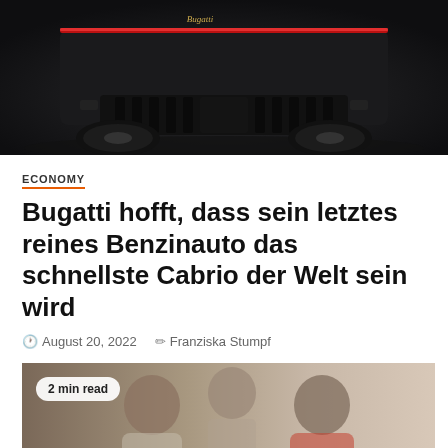[Figure (photo): Rear view of a dark/black Bugatti supercar in a studio setting, showing the exhaust and rear diffuser]
ECONOMY
Bugatti hofft, dass sein letztes reines Benzinauto das schnellste Cabrio der Welt sein wird
August 20, 2022   Franziska Stumpf
[Figure (photo): Three young people posing together — a film still or promotional photo, possibly from Ferris Bueller's Day Off. A 2 min read badge overlays the image.]